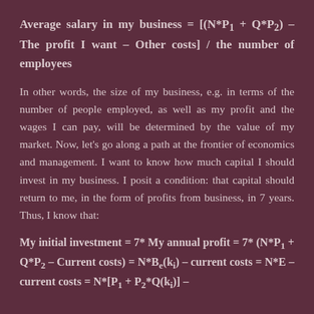In other words, the size of my business, e.g. in terms of the number of people employed, as well as my profit and the wages I can pay, will be determined by the value of my market. Now, let’s go along a path at the frontier of economics and management. I want to know how much capital I should invest in my business. I posit a condition: that capital should return to me, in the form of profits from business, in 7 years. Thus, I know that: